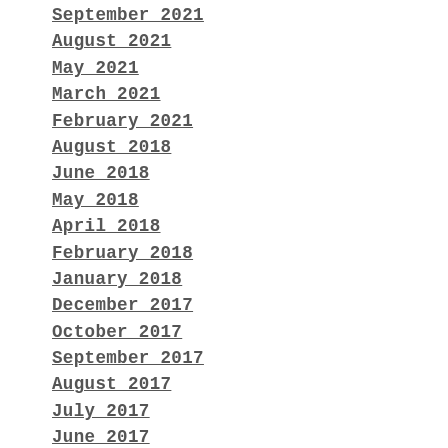September 2021
August 2021
May 2021
March 2021
February 2021
August 2018
June 2018
May 2018
April 2018
February 2018
January 2018
December 2017
October 2017
September 2017
August 2017
July 2017
June 2017
May 2017
April 2017